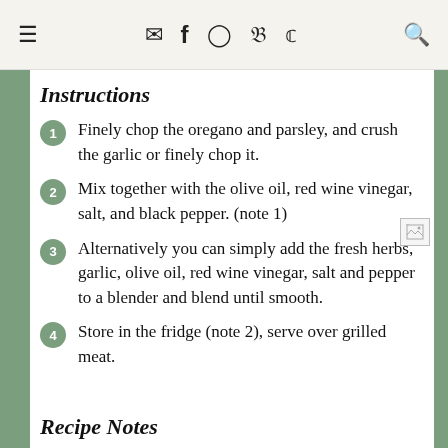≡  ✉  f  ⊙  p  🐦  🔍
Instructions
Finely chop the oregano and parsley, and crush the garlic or finely chop it.
Mix together with the olive oil, red wine vinegar, salt, and black pepper. (note 1)
Alternatively you can simply add the fresh herbs, garlic, olive oil, red wine vinegar, salt and pepper to a blender and blend until smooth.
Store in the fridge (note 2), serve over grilled meat.
Recipe Notes